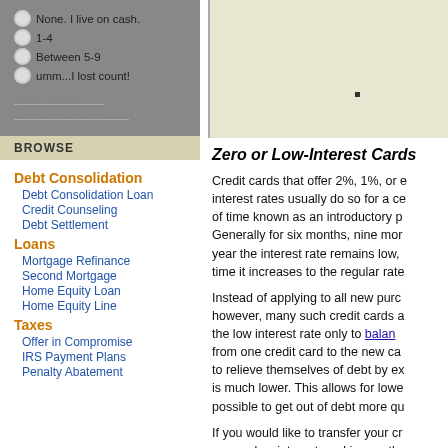None. I live on cash.
1-4
Between 5-9
umm...I lost count!
View Results
Crowdsignal.com
BROWSE
Debt Consolidation
Debt Consolidation Loan
Credit Counseling
Debt Settlement
Loans
Mortgage Refinance
Second Mortgage
Home Equity Loan
Home Equity Line
Taxes
Offer in Compromise
IRS Payment Plans
Penalty Abatement
[Figure (map): A map image with a small dot marker indicating a location]
Zero or Low-Interest Cards
Credit cards that offer 2%, 1%, or even 0% interest rates usually do so for a certain period of time known as an introductory period. Generally for six months, nine months, or a year the interest rate remains low, and after that time it increases to the regular rate.
Instead of applying to all new purchases, however, many such credit cards apply the low interest rate only to balance transfers from one credit card to the new card. People to relieve themselves of debt by exploiting is much lower. This allows for lower and it is possible to get out of debt more quickly.
If you would like to transfer your credit to a zero or low-interest card is exactly